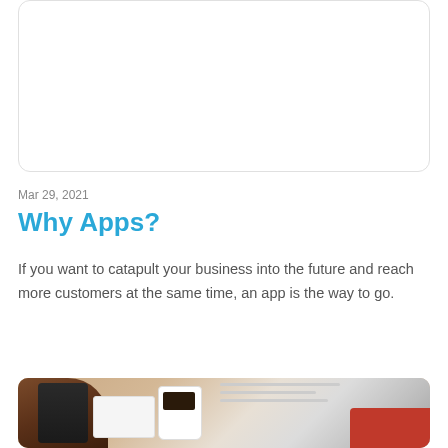[Figure (other): White card/panel with rounded border at top of page, partially visible]
Mar 29, 2021
Why Apps?
If you want to catapult your business into the future and reach more customers at the same time, an app is the way to go.
[Figure (photo): Photo of a desk scene with a hand holding a tablet/phone, a coffee mug, red and white objects on a white desk surface]